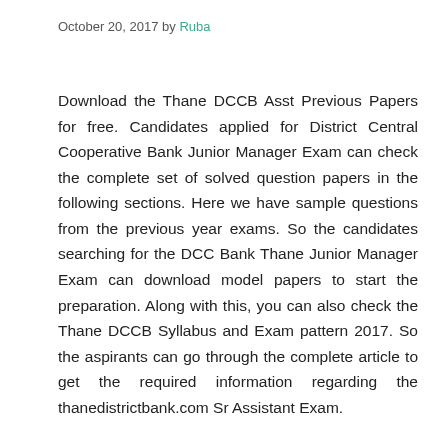October 20, 2017 by Ruba
Download the Thane DCCB Asst Previous Papers for free. Candidates applied for District Central Cooperative Bank Junior Manager Exam can check the complete set of solved question papers in the following sections. Here we have sample questions from the previous year exams. So the candidates searching for the DCC Bank Thane Junior Manager Exam can download model papers to start the preparation. Along with this, you can also check the Thane DCCB Syllabus and Exam pattern 2017. So the aspirants can go through the complete article to get the required information regarding the thanedistrictbank.com Sr Assistant Exam.